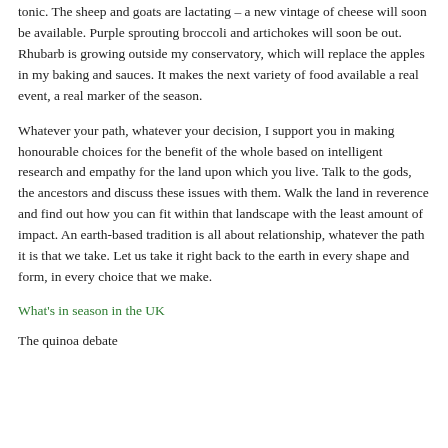tonic. The sheep and goats are lactating – a new vintage of cheese will soon be available. Purple sprouting broccoli and artichokes will soon be out. Rhubarb is growing outside my conservatory, which will replace the apples in my baking and sauces. It makes the next variety of food available a real event, a real marker of the season.
Whatever your path, whatever your decision, I support you in making honourable choices for the benefit of the whole based on intelligent research and empathy for the land upon which you live. Talk to the gods, the ancestors and discuss these issues with them. Walk the land in reverence and find out how you can fit within that landscape with the least amount of impact. An earth-based tradition is all about relationship, whatever the path it is that we take. Let us take it right back to the earth in every shape and form, in every choice that we make.
What's in season in the UK
The quinoa debate